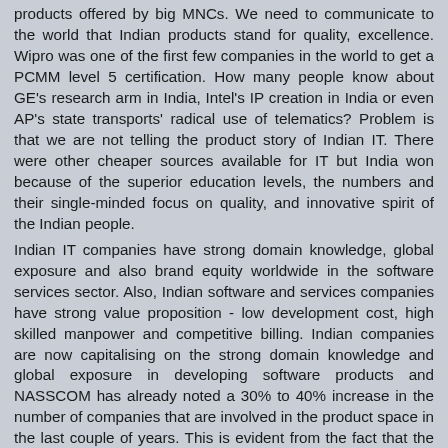products offered by big MNCs. We need to communicate to the world that Indian products stand for quality, excellence. Wipro was one of the first few companies in the world to get a PCMM level 5 certification. How many people know about GE's research arm in India, Intel's IP creation in India or even AP's state transports' radical use of telematics? Problem is that we are not telling the product story of Indian IT. There were other cheaper sources available for IT but India won because of the superior education levels, the numbers and their single-minded focus on quality, and innovative spirit of the Indian people.
Indian IT companies have strong domain knowledge, global exposure and also brand equity worldwide in the software services sector. Also, Indian software and services companies have strong value proposition - low development cost, high skilled manpower and competitive billing. Indian companies are now capitalising on the strong domain knowledge and global exposure in developing software products and NASSCOM has already noted a 30% to 40% increase in the number of companies that are involved in the product space in the last couple of years. This is evident from the fact that the Indian IT industry's export revenues from product and technology services has grown from Rs.